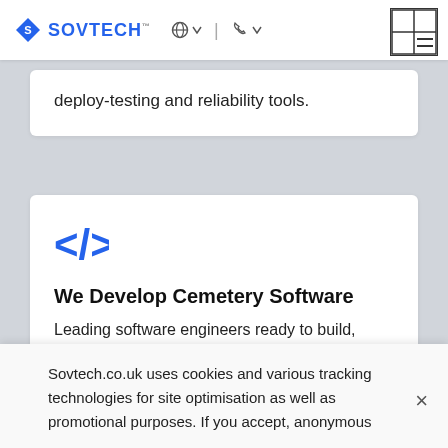SOVTECH navigation header with logo, globe icon, phone icon, and hamburger menu
deploy-testing and reliability tools.
[Figure (illustration): Blue code bracket icon </> representing software development]
We Develop Cemetery Software
Leading software engineers ready to build, code and develop scalable frontend and backend
Sovtech.co.uk uses cookies and various tracking technologies for site optimisation as well as promotional purposes. If you accept, anonymous